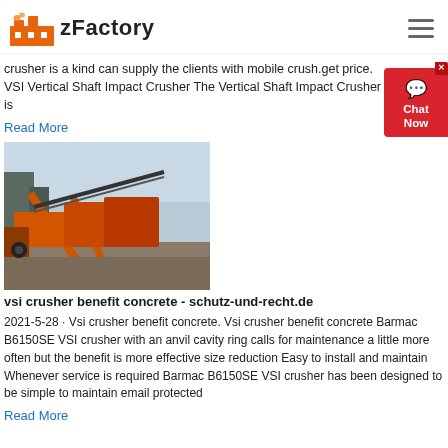zFactory
crusher is a kind can supply the clients with mobile crush.get price. VSI Vertical Shaft Impact Crusher The Vertical Shaft Impact Crusher is
Read More
[Figure (photo): Industrial crusher/conveyor equipment at a mining or construction site, showing orange machinery and conveyor belts outdoors.]
vsi crusher benefit concrete - schutz-und-recht.de
2021-5-28 · Vsi crusher benefit concrete. Vsi crusher benefit concrete Barmac B6150SE VSI crusher with an anvil cavity ring calls for maintenance a little more often but the benefit is more effective size reduction Easy to install and maintain Whenever service is required Barmac B6150SE VSI crusher has been designed to be simple to maintain email protected
Read More